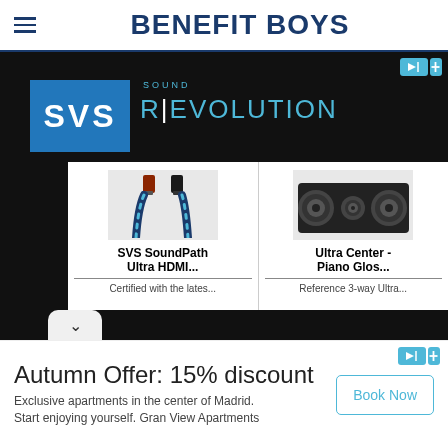BENEFIT BOYS
[Figure (screenshot): SVS Sound Revolution advertisement banner with logo, HDMI cable product and Ultra Center speaker product]
[Figure (infographic): Autumn Offer: 15% discount advertisement for Gran View Apartments with Book Now button]